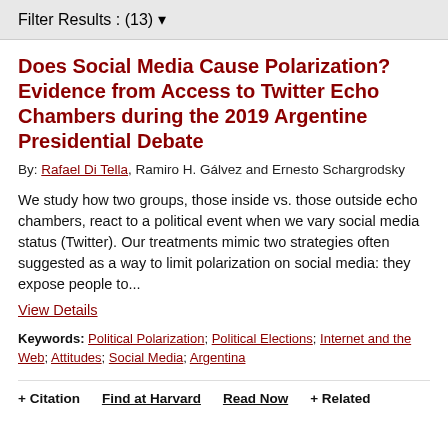Filter Results : (13) ▾
Does Social Media Cause Polarization? Evidence from Access to Twitter Echo Chambers during the 2019 Argentine Presidential Debate
By: Rafael Di Tella, Ramiro H. Gálvez and Ernesto Schargrodsky
We study how two groups, those inside vs. those outside echo chambers, react to a political event when we vary social media status (Twitter). Our treatments mimic two strategies often suggested as a way to limit polarization on social media: they expose people to... View Details
Keywords: Political Polarization; Political Elections; Internet and the Web; Attitudes; Social Media; Argentina
+ Citation   Find at Harvard   Read Now   + Related